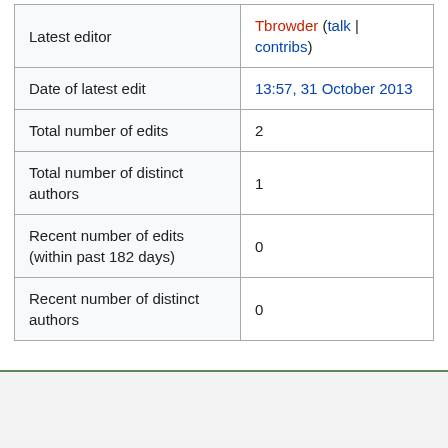|  |  |
| --- | --- |
| Latest editor | Tbrowder (talk | contribs) |
| Date of latest edit | 13:57, 31 October 2013 |
| Total number of edits | 2 |
| Total number of distinct authors | 1 |
| Recent number of edits (within past 182 days) | 0 |
| Recent number of distinct authors | 0 |
Privacy policy   About BRL-CAD   Disclaimers   Powered By MediaWiki